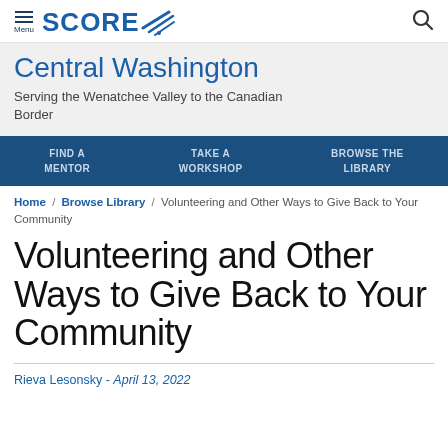Menu | SCORE | Search
Central Washington
Serving the Wenatchee Valley to the Canadian Border
FIND A MENTOR | TAKE A WORKSHOP | BROWSE THE LIBRARY
Home / Browse Library / Volunteering and Other Ways to Give Back to Your Community
Volunteering and Other Ways to Give Back to Your Community
Rieva Lesonsky - April 13, 2022